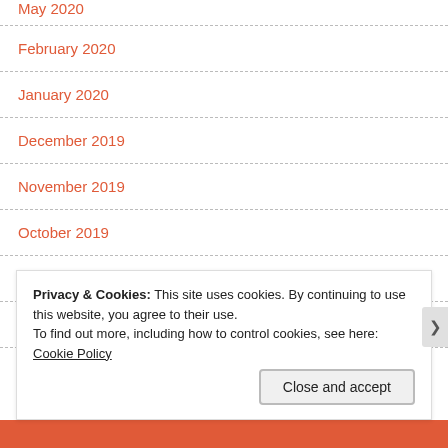May 2020
February 2020
January 2020
December 2019
November 2019
October 2019
September 2019
August 2019
Privacy & Cookies: This site uses cookies. By continuing to use this website, you agree to their use.
To find out more, including how to control cookies, see here: Cookie Policy
Close and accept